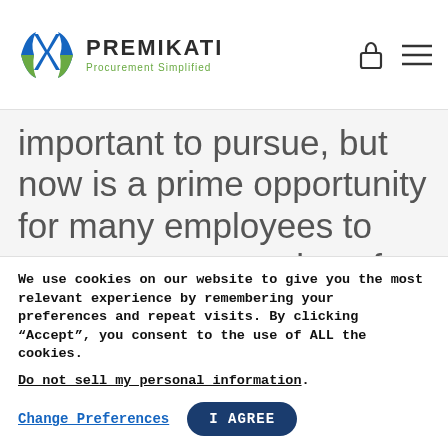PREMIKATI Procurement Simplified
important to pursue, but now is a prime opportunity for many employees to pursue an expansion of their skills. Many courses are free during the coronavirus crisis, so time availability, a desire to learn, and
Contact Us
We use cookies on our website to give you the most relevant experience by remembering your preferences and repeat visits. By clicking “Accept”, you consent to the use of ALL the cookies.
Do not sell my personal information.
Change Preferences  I AGREE